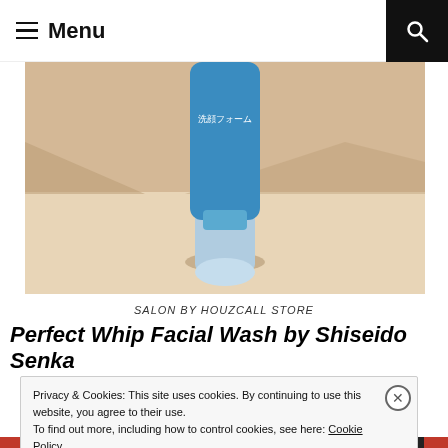≡ Menu
[Figure (photo): Close-up photo of a blue Shiseido Senka Perfect Whip facial wash tube standing upright on a light wooden surface with Japanese text on the tube reading 洗顔フォーム]
SALON BY HOUZCALL STORE
Perfect Whip Facial Wash by Shiseido Senka
Privacy & Cookies: This site uses cookies. By continuing to use this website, you agree to their use.
To find out more, including how to control cookies, see here: Cookie Policy
Close and accept